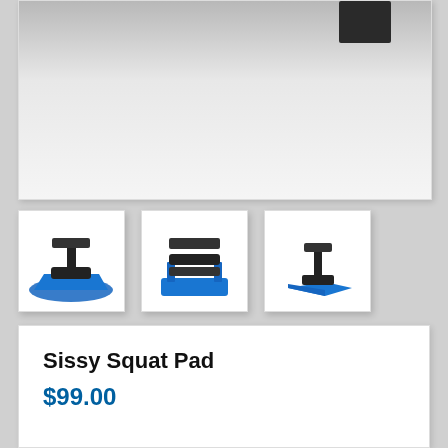[Figure (photo): Top portion of a Sissy Squat Pad fitness equipment product image, showing a dark black rectangular bar/pad against a light grey gradient background]
[Figure (photo): Thumbnail 1: Sissy Squat Pad viewed from front-left angle showing blue base mat with black roller and vertical pad]
[Figure (photo): Thumbnail 2: Sissy Squat Pad viewed from front showing blue base with black double roller and vertical pad]
[Figure (photo): Thumbnail 3: Sissy Squat Pad viewed from side-right angle showing blue base with black roller and small pad]
Sissy Squat Pad
$99.00